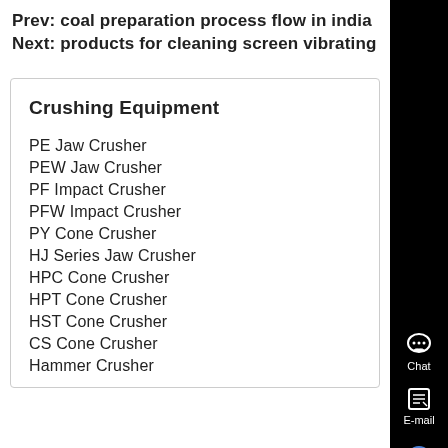Prev: coal preparation process flow in india
Next: products for cleaning screen vibrating
Crushing Equipment
PE Jaw Crusher
PEW Jaw Crusher
PF Impact Crusher
PFW Impact Crusher
PY Cone Crusher
HJ Series Jaw Crusher
HPC Cone Crusher
HPT Cone Crusher
HST Cone Crusher
CS Cone Crusher
Hammer Crusher